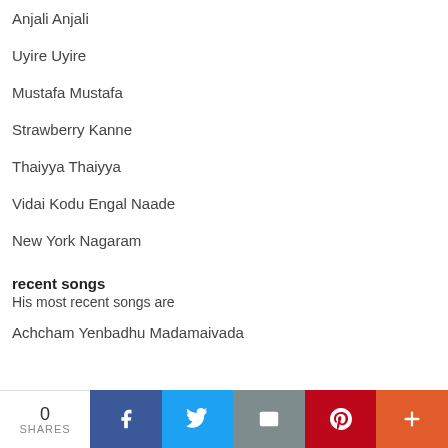Anjali Anjali
Uyire Uyire
Mustafa Mustafa
Strawberry Kanne
Thaiyya Thaiyya
Vidai Kodu Engal Naade
New York Nagaram
recent songs
His most recent songs are
Achcham Yenbadhu Madamaivada